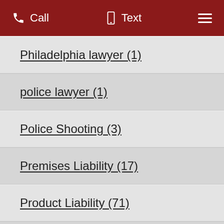Call  Text  ☰
Philadelphia lawyer (1)
police lawyer (1)
Police Shooting (3)
Premises Liability (17)
Product Liability (71)
product recall (6)